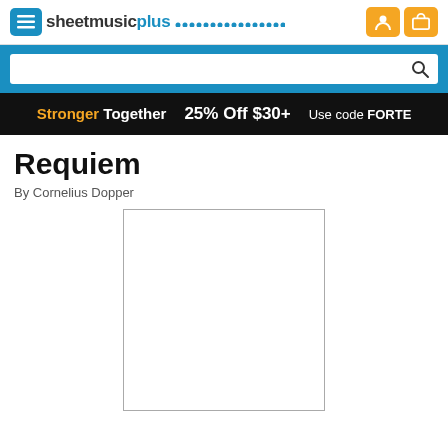sheetmusicplus
[Figure (screenshot): Search bar with blue background and magnifying glass icon]
Stronger Together  25% Off $30+  Use code FORTE
Requiem
By Cornelius Dopper
[Figure (other): Empty white product image placeholder with thin border]